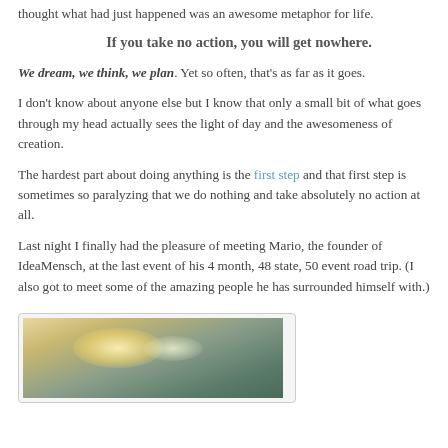thought what had just happened was an awesome metaphor for life.
If you take no action, you will get nowhere.
We dream, we think, we plan. Yet so often, that’s as far as it goes.
I don’t know about anyone else but I know that only a small bit of what goes through my head actually sees the light of day and the awesomeness of creation.
The hardest part about doing anything is the first step and that first step is sometimes so paralyzing that we do nothing and take absolutely no action at all.
Last night I finally had the pleasure of meeting Mario, the founder of IdeaMensch, at the last event of his 4 month, 48 state, 50 event road trip. (I also got to meet some of the amazing people he has surrounded himself with.)
[Figure (photo): A dimly lit indoor photo showing overhead lights with a warm glow, ceiling with greenish tones.]